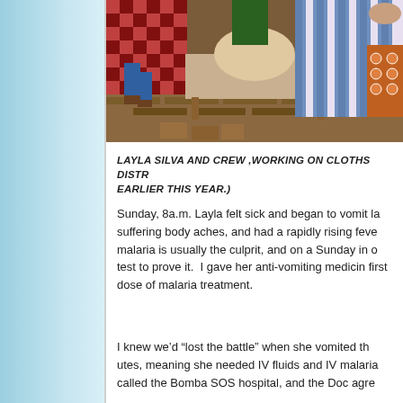[Figure (photo): Layla Silva and crew working on cloths distribution. Two people visible, colorful patterned fabrics and blankets in an indoor setting with brick or stone floor.]
LAYLA SILVA AND CREW ,WORKING ON CLOTHS DISTR EARLIER THIS YEAR.)
Sunday, 8a.m. Layla felt sick and began to vomit la suffering body aches, and had a rapidly rising feve malaria is usually the culprit, and on a Sunday in o test to prove it.  I gave her anti-vomiting medicin first dose of malaria treatment.
I knew we'd “lost the battle” when she vomited th utes, meaning she needed IV fluids and IV malaria called the Bomba SOS hospital, and the Doc agre